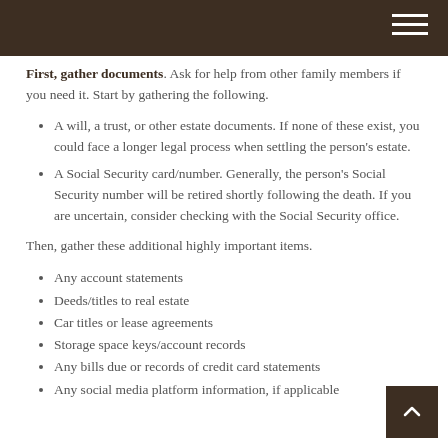First, gather documents. Ask for help from other family members if you need it. Start by gathering the following.
A will, a trust, or other estate documents. If none of these exist, you could face a longer legal process when settling the person’s estate.
A Social Security card/number. Generally, the person’s Social Security number will be retired shortly following the death. If you are uncertain, consider checking with the Social Security office.
Then, gather these additional highly important items.
Any account statements
Deeds/titles to real estate
Car titles or lease agreements
Storage space keys/account records
Any bills due or records of credit card statements
Any social media platform information, if applicable